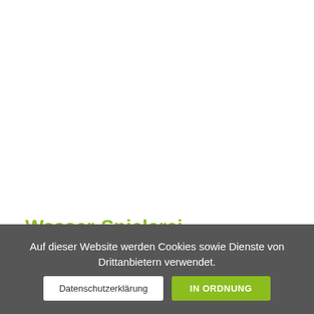[Figure (other): White area occupying the upper portion of the page, representing a blank content/image area]
Natur/Pflanzen
Wasser-Spielerei
Auf dieser Website werden Cookies sowie Dienste von Drittanbietern verwendet.
Datenschutzerklärung
IN ORDNUNG